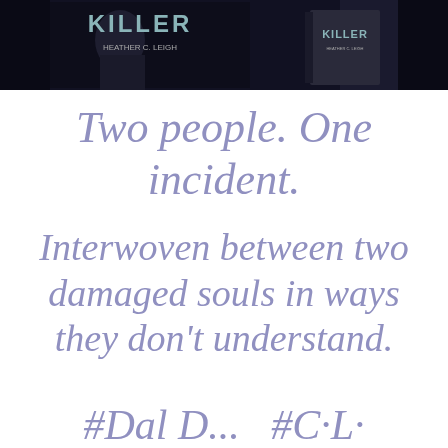[Figure (illustration): Book cover banner image showing a dark moody cover of 'KILLER' by Heather C. Leigh, featuring a man's face and a 3D book mockup on the right side against a dark background.]
Two people. One incident.
Interwoven between two damaged souls in ways they don't understand.
#DarkRomance #TightlyWoven (partially visible at bottom)